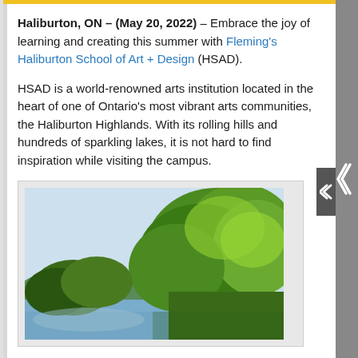Haliburton, ON – (May 20, 2022) – Embrace the joy of learning and creating this summer with Fleming's Haliburton School of Art + Design (HSAD).
HSAD is a world-renowned arts institution located in the heart of one of Ontario's most vibrant arts communities, the Haliburton Highlands. With its rolling hills and hundreds of sparkling lakes, it is not hard to find inspiration while visiting the campus.
[Figure (photo): Landscape photo showing a calm lake with lush green trees along the shoreline under a light blue sky. The trees are densely leafed and bright green, reflecting a summer scene in the Haliburton Highlands.]